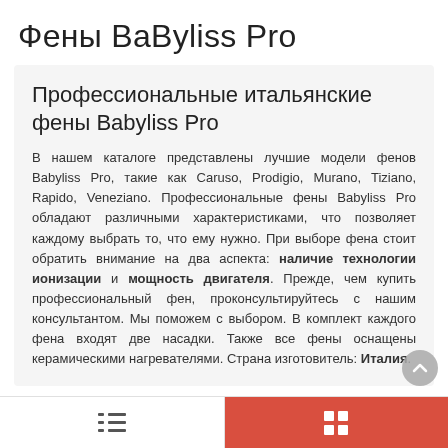Фены BaByliss Pro
Профессиональные итальянские фены Babyliss Pro
В нашем каталоге представлены лучшие модели фенов Babyliss Pro, такие как Caruso, Prodigio, Murano, Tiziano, Rapido, Veneziano. Профессиональные фены Babyliss Pro обладают различными характеристиками, что позволяет каждому выбрать то, что ему нужно. При выборе фена стоит обратить внимание на два аспекта: наличие технологии ионизации и мощность двигателя. Прежде, чем купить профессиональный фен, проконсультируйтесь с нашим консультантом. Мы поможем с выбором. В комплект каждого фена входят две насадки. Также все фены оснащены керамическими нагревателями. Страна изготовитель: Италия.